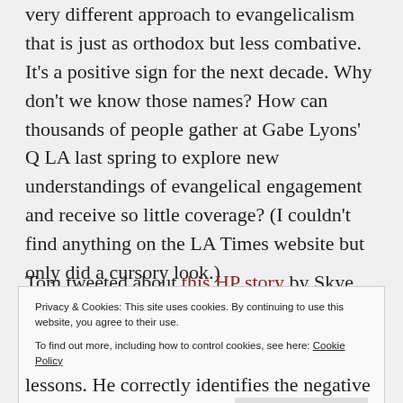very different approach to evangelicalism that is just as orthodox but less combative. It's a positive sign for the next decade. Why don't we know those names? How can thousands of people gather at Gabe Lyons' Q LA last spring to explore new understandings of evangelical engagement and receive so little coverage? (I couldn't find anything on the LA Times website but only did a cursory look.)
Tom tweeted about this HP story by Skye
Privacy & Cookies: This site uses cookies. By continuing to use this website, you agree to their use.
To find out more, including how to control cookies, see here: Cookie Policy
Close and accept
lessons. He correctly identifies the negative